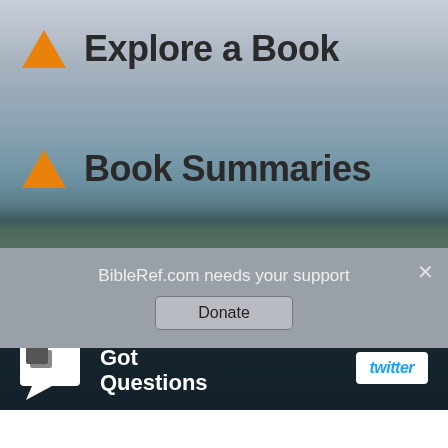[Figure (screenshot): Website navigation screenshot for BibleRef.com showing menu items with orange triangles, a dark footer with GotQuestions ministry info and social media buttons, and a donation support bar at the bottom.]
▲ Explore a Book
▲ Book Summaries
▲ The Gospel
BibleRef.com is a ministry of
[Figure (logo): Got Questions logo - speech bubble icon with 'Got Questions' text in white]
[Figure (logo): facebook button - blue rounded rectangle]
[Figure (logo): twitter button - white rounded rectangle with blue italic text]
BibleRef.com needs your support
Donate